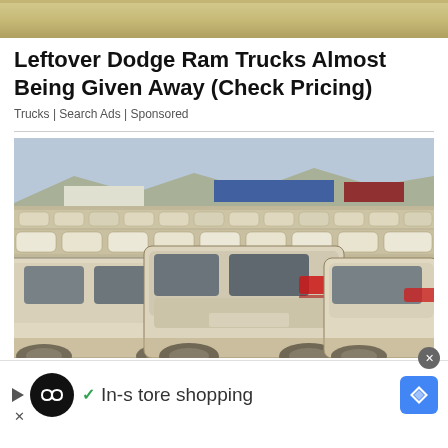[Figure (photo): Top banner image with sandy/tan texture background]
Leftover Dodge Ram Trucks Almost Being Given Away (Check Pricing)
Trucks | Search Ads | Sponsored
[Figure (photo): Large lot filled with rows of white/dusty SUVs and cars parked in a desert-like open area, viewed from rear three-quarter angle, with industrial buildings and hills in the background]
In-store shopping